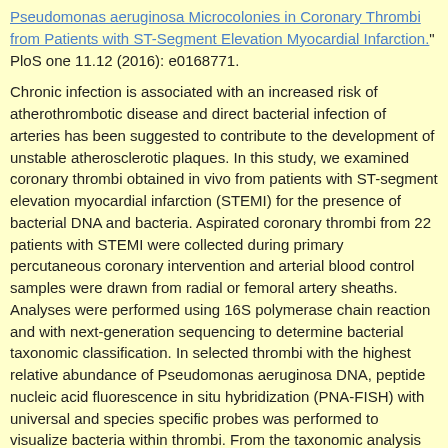Pseudomonas aeruginosa Microcolonies in Coronary Thrombi from Patients with ST-Segment Elevation Myocardial Infarction." PloS one 11.12 (2016): e0168771.
Chronic infection is associated with an increased risk of atherothrombotic disease and direct bacterial infection of arteries has been suggested to contribute to the development of unstable atherosclerotic plaques. In this study, we examined coronary thrombi obtained in vivo from patients with ST-segment elevation myocardial infarction (STEMI) for the presence of bacterial DNA and bacteria. Aspirated coronary thrombi from 22 patients with STEMI were collected during primary percutaneous coronary intervention and arterial blood control samples were drawn from radial or femoral artery sheaths. Analyses were performed using 16S polymerase chain reaction and with next-generation sequencing to determine bacterial taxonomic classification. In selected thrombi with the highest relative abundance of Pseudomonas aeruginosa DNA, peptide nucleic acid fluorescence in situ hybridization (PNA-FISH) with universal and species specific probes was performed to visualize bacteria within thrombi. From the taxonomic analysis we identified a total of 55 different bacterial species. DNA from Pseudomonas aeruginosa represented the only species that was significantly associated with